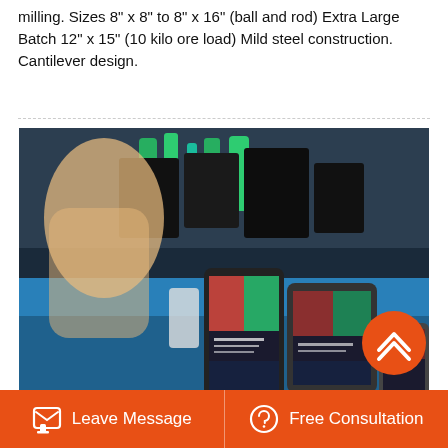milling. Sizes 8" x 8" to 8" x 16" (ball and rod) Extra Large Batch 12" x 15" (10 kilo ore load) Mild steel construction. Cantilever design.
[Figure (photo): A worker in a manufacturing or electronics facility holding smartphones against equipment with green cables and machinery in the background. An orange back-to-top button overlay is visible in the upper right of the image.]
Denver Ball Mill X Flotation Cells
Leave Message
Free Consultation